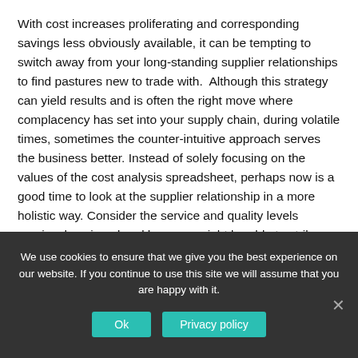With cost increases proliferating and corresponding savings less obviously available, it can be tempting to switch away from your long-standing supplier relationships to find pastures new to trade with.  Although this strategy can yield results and is often the right move where complacency has set into your supply chain, during volatile times, sometimes the counter-intuitive approach serves the business better. Instead of solely focusing on the values of the cost analysis spreadsheet, perhaps now is a good time to look at the supplier relationship in a more holistic way. Consider the service and quality levels previously enjoyed and how you might be able to strike a new way of working with your
We use cookies to ensure that we give you the best experience on our website. If you continue to use this site we will assume that you are happy with it.